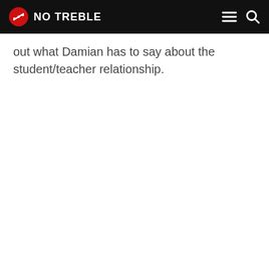NO TREBLE
out what Damian has to say about the student/teacher relationship.